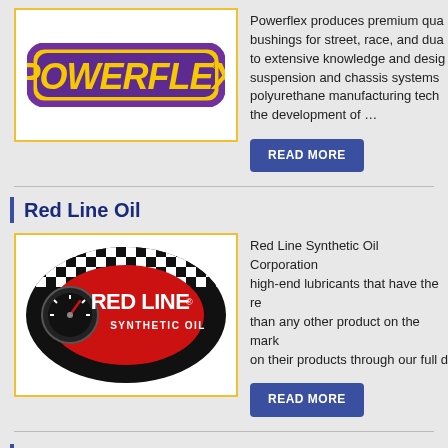[Figure (logo): Powerflex logo - yellow italic bold text on purple outlined rounded rectangle with yellow border]
Powerflex produces premium quality bushings for street, race, and dual to extensive knowledge and design suspension and chassis systems c polyurethane manufacturing techni the development of …
READ MORE
Red Line Oil
[Figure (logo): Red Line Synthetic Oil logo - red diamond/oval shape with checkered flag pattern background, speedometer graphic, white text RED LINE SYNTHETIC OIL]
Red Line Synthetic Oil Corporation high-end lubricants that have the re than any other product on the mark on their products through our full d
READ MORE
Chin Track Days